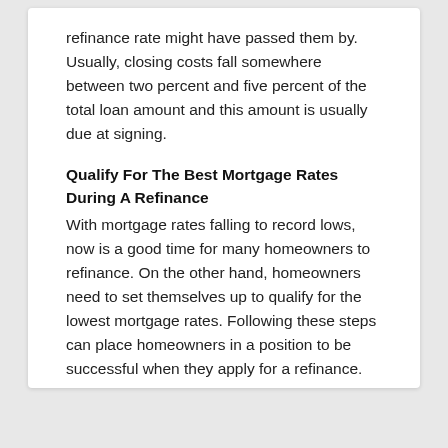refinance rate might have passed them by. Usually, closing costs fall somewhere between two percent and five percent of the total loan amount and this amount is usually due at signing.
Qualify For The Best Mortgage Rates During A Refinance
With mortgage rates falling to record lows, now is a good time for many homeowners to refinance. On the other hand, homeowners need to set themselves up to qualify for the lowest mortgage rates. Following these steps can place homeowners in a position to be successful when they apply for a refinance.